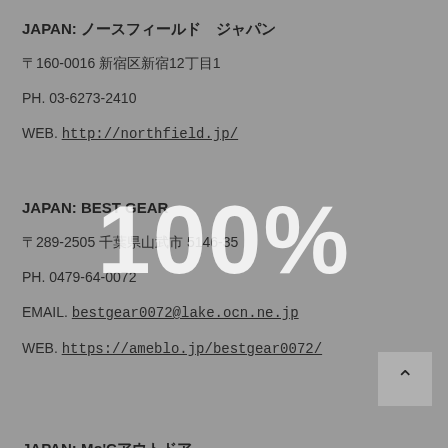JAPAN: ノースフィールドジャパン
〒160-0016 新宿区新宿12丁目1
PH. 03-6273-2410
WEB. http://northfield.jp/
JAPAN: BEST GEAR
〒289-2505 千葉県山武市 5146-35
PH. 0479-64-0072
EMAIL. bestgear0072@lake.ocn.ne.jp
WEB. https://ameblo.jp/bestgear0072/
JAPAN: Mo'Cアウトドア